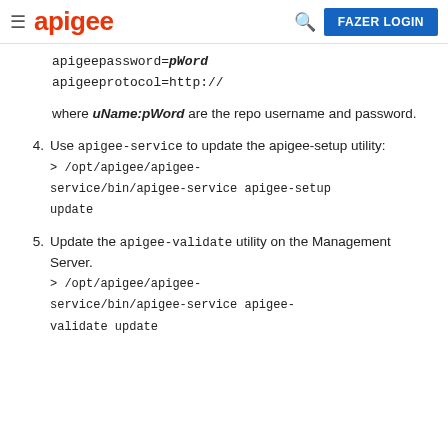apigee — FAZER LOGIN
apigeepassword=pWord
apigeeprotocol=http://
where uName:pWord are the repo username and password.
4. Use apigee-service to update the apigee-setup utility:
> /opt/apigee/apigee-service/bin/apigee-service apigee-setup update
5. Update the apigee-validate utility on the Management Server.
> /opt/apigee/apigee-service/bin/apigee-service apigee-validate update